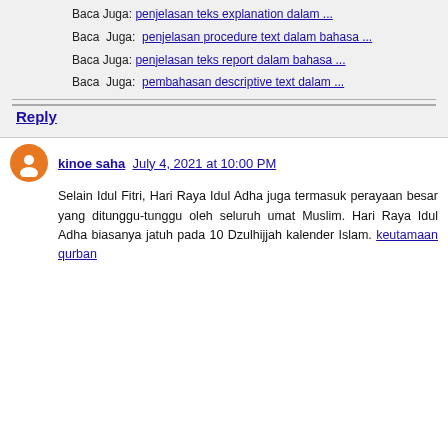Baca Juga: penjelasan teks explanation dalam ...
Baca Juga: penjelasan procedure text dalam bahasa ...
Baca Juga: penjelasan teks report dalam bahasa ...
Baca Juga: pembahasan descriptive text dalam ...
Reply
kinoe saha  July 4, 2021 at 10:00 PM
Selain Idul Fitri, Hari Raya Idul Adha juga termasuk perayaan besar yang ditunggu-tunggu oleh seluruh umat Muslim. Hari Raya Idul Adha biasanya jatuh pada 10 Dzulhijjah kalender Islam. keutamaan qurban